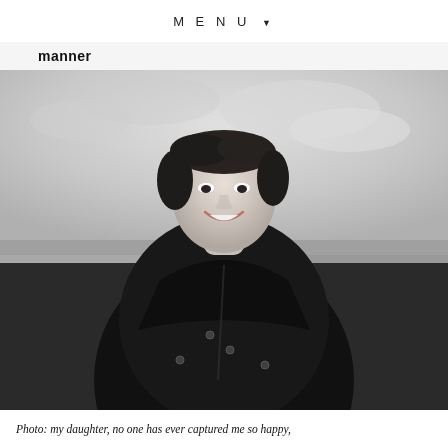MENU ▼
manner
[Figure (photo): Black and white photograph of a woman with short hair, smiling broadly, wearing a dark jacket, standing outdoors with an overcast sky and coastal landscape in the background.]
Photo: my daughter, no one has ever captured me so happy,